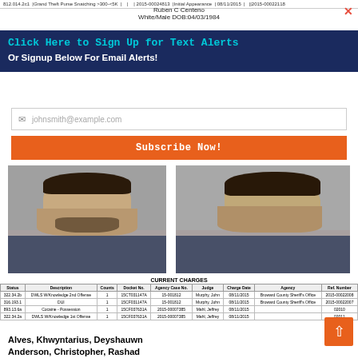812.014.2c1 | Grand Theft Purse Snatching >300-<5K | | | 2015-00024813 | Initial Appearance | 08/11/2015 | | 2015-00022118
Ruben C Centeno
White/Male DOB:04/03/1984
Click Here to Sign Up for Text Alerts
Or Signup Below For Email Alerts!
johnsmith@example.com
Subscribe Now!
[Figure (photo): Front-facing mugshot photo of Ruben C Centeno]
[Figure (photo): Side-profile mugshot photo of Ruben C Centeno]
| Status | Description | Counts | Docket No. | Agency Case No. | Judge | Charge Date | Agency | Ref. Number |
| --- | --- | --- | --- | --- | --- | --- | --- | --- |
| 322.34.2b | DWLS W/Knowledge 2nd Offense | 1 | 15CT031147A | 15-001812 | Murphy, John | 08/11/2015 | Broward County Sheriff's Office | 2015-00022008 |
| 316.193.1 | DUI | 1 | 15CF031147A | 15-001812 | Murphy, John | 08/11/2015 | Broward County Sheriff's Office | 2015-00022007 |
| 893.13.6a | Cocaine - Possession | 1 | 15CF037631A | 2015-00007385 | Mahl, Jeffrey | 08/11/2015 |  | 02010 |
| 322.34.2a | DWLS W/Knowledge 1st Offense | 1 | 15CF037631A | 2015-00007385 | Mahl, Jeffrey | 08/11/2015 |  | 02011 |
Alves, Khwyntarius, Deyshauwn
Anderson, Christopher, Rashad